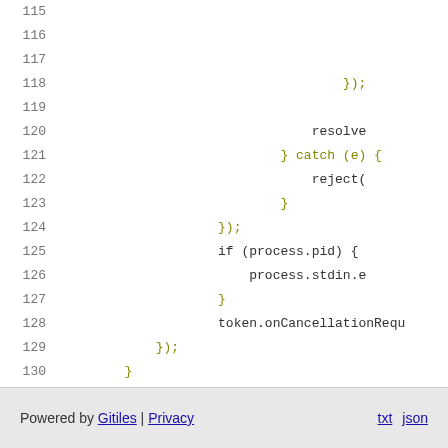Code listing lines 115-131 showing JavaScript code with catch/reject/process.pid/process.stdin/token.onCancellationReq patterns
Powered by Gitiles | Privacy   txt   json